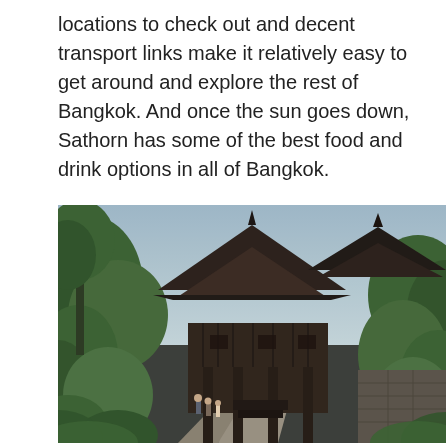locations to check out and decent transport links make it relatively easy to get around and explore the rest of Bangkok. And once the sun goes down, Sathorn has some of the best food and drink options in all of Bangkok.
[Figure (photo): A traditional Thai wooden house with characteristic steep multi-tiered dark brown rooftops, surrounded by lush tropical greenery and trees. A paved pathway leads past the elevated building. A few visitors can be seen walking in the background.]